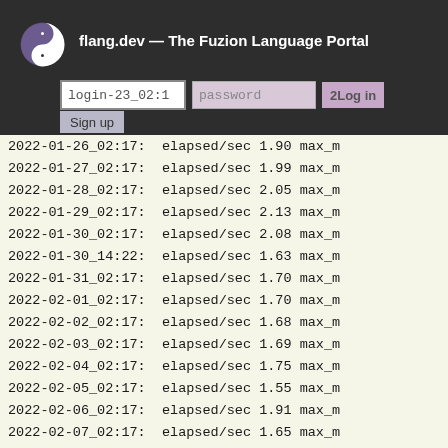flang.dev — The Fuzion Language Portal
[Figure (screenshot): Website header overlay with logo, login input, password input, Login button, and Signup button on dark background]
2022-01-21_10:53: elapsed/sec 2.71 max_m
2022-01-23_02:1 elapsed/sec ...
2022-01-23_02:17: elapsed/sec ...
2022-01-24_13:42: elapsed/sec 2.13 max_m
2022-01-25_02:17: elapsed/sec 1.98 max_m
2022-01-26_02:17: elapsed/sec 1.90 max_m
2022-01-27_02:17: elapsed/sec 1.99 max_m
2022-01-28_02:17: elapsed/sec 2.05 max_m
2022-01-29_02:17: elapsed/sec 2.13 max_m
2022-01-30_02:17: elapsed/sec 2.08 max_m
2022-01-30_14:22: elapsed/sec 1.63 max_m
2022-01-31_02:17: elapsed/sec 1.70 max_m
2022-02-01_02:17: elapsed/sec 1.70 max_m
2022-02-02_02:17: elapsed/sec 1.68 max_m
2022-02-03_02:17: elapsed/sec 1.69 max_m
2022-02-04_02:17: elapsed/sec 1.75 max_m
2022-02-05_02:17: elapsed/sec 1.55 max_m
2022-02-06_02:17: elapsed/sec 1.91 max_m
2022-02-07_02:17: elapsed/sec 1.65 max_m
2022-02-08_02:17: elapsed/sec 1.72 max_m
2022-02-09_02:17: elapsed/sec 1.75 max_m
2022-02-10_02:17: elapsed/sec 1.66 max_m